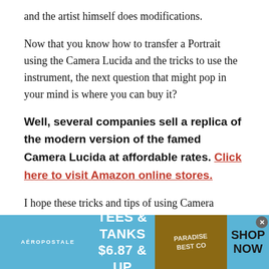and the artist himself does modifications.
Now that you know how to transfer a Portrait using the Camera Lucida and the tricks to use the instrument, the next question that might pop in your mind is where you can buy it?
Well, several companies sell a replica of the modern version of the famed Camera Lucida at affordable rates. Click here to visit Amazon online stores.
I hope these tricks and tips of using Camera Lucida
[Figure (infographic): Aeropostale advertisement banner: light blue background with 'AÉROPOSTALE' logo on left, 'TEES & TANKS $6.87 & UP' text in center, image of merchandise on right, 'SHOP NOW' text on far right, close button (x) in top-right corner]